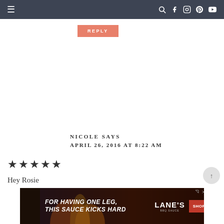≡ [navigation bar with hamburger menu and social icons: search, facebook, instagram, pinterest, youtube]
REPLY
NICOLE SAYS
APRIL 26, 2016 AT 8:22 AM
[Figure (other): Five star rating (5 out of 5 stars)]
Hey Rosie
[Figure (other): Advertisement banner: FOR HAVING ONE LEG, THIS SAUCE KICKS HARD - LANE'S - SHOP NOW]